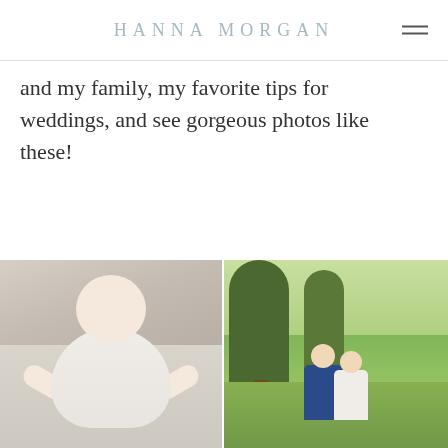HANNA MORGAN
and my family, my favorite tips for weddings, and see gorgeous photos like these!
[Figure (photo): Baby lying on a decorative surface wearing a white floral dress, arms outstretched, looking at camera]
[Figure (photo): Couple standing close together under a large tree in a green outdoor field, appearing to share a kiss]